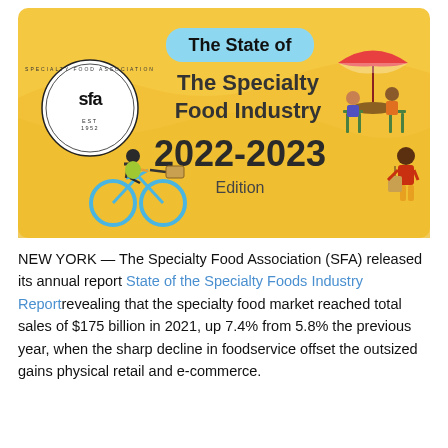[Figure (illustration): Infographic banner for 'The State of The Specialty Food Industry 2022-2023 Edition' by the Specialty Food Association (SFA). Orange/yellow wavy background with SFA circular logo on left, a person riding a blue bicycle with a basket in the center-left, two people dining under an umbrella in the upper right, a person carrying bags on the right, and large bold text reading 'The State of The Specialty Food Industry 2022-2023 Edition'.]
NEW YORK — The Specialty Food Association (SFA) released its annual report State of the Specialty Foods Industry Reportrevealing that the specialty food market reached total sales of $175 billion in 2021, up 7.4% from 5.8% the previous year, when the sharp decline in foodservice offset the outsized gains physical retail and e-commerce.